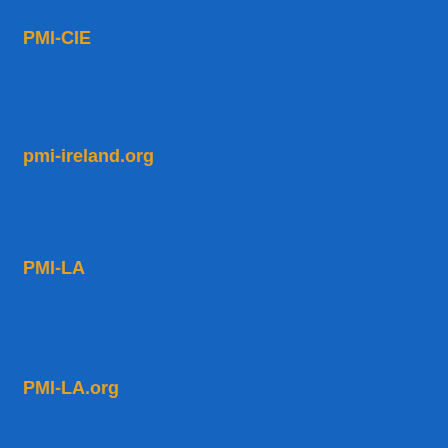PMI-CIE
pmi-ireland.org
PMI-LA
PMI-LA.org
PMI-NAC
PMI-NAC.ORG
PMI-SNC.ORG
PMI-SWVA
PMI-SWVA.ORG